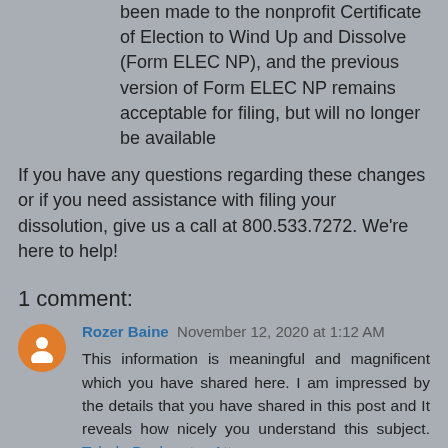been made to the nonprofit Certificate of Election to Wind Up and Dissolve (Form ELEC NP), and the previous version of Form ELEC NP remains acceptable for filing, but will no longer be available
If you have any questions regarding these changes or if you need assistance with filing your dissolution, give us a call at 800.533.7272. We’re here to help!
1 comment:
Rozer Baine November 12, 2020 at 1:12 AM
This information is meaningful and magnificent which you have shared here. I am impressed by the details that you have shared in this post and It reveals how nicely you understand this subject. Toledo Bankruptcy Attorney
Reply